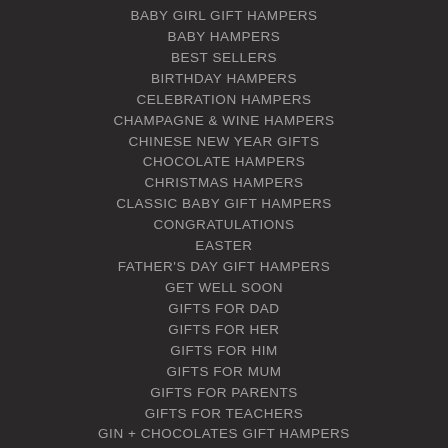BABY GIRL GIFT HAMPERS
BABY HAMPERS
BEST SELLERS
BIRTHDAY HAMPERS
CELEBRATION HAMPERS
CHAMPAGNE & WINE HAMPERS
CHINESE NEW YEAR GIFTS
CHOCOLATE HAMPERS
CHRISTMAS HAMPERS
CLASSIC BABY GIFT HAMPERS
CONGRATULATIONS
EASTER
FATHER'S DAY GIFT HAMPERS
GET WELL SOON
GIFTS FOR DAD
GIFTS FOR HER
GIFTS FOR HIM
GIFTS FOR MUM
GIFTS FOR PARENTS
GIFTS FOR TEACHERS
GIN + CHOCOLATES GIFT HAMPERS
GOURMET GIFT HAMPERS
HOUSEWARMING HAMPERS
LUXURY BABY GIFT HAMPERS